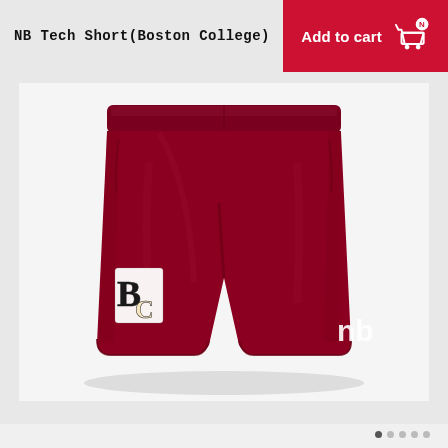NB Tech Short(Boston College)
[Figure (other): Red 'Add to cart' button with New Balance shopping cart icon]
[Figure (photo): Dark red/maroon New Balance Tech athletic shorts with Boston College BC logo on left leg and New Balance logo on right leg, shown on white background]
[Figure (other): Navigation dots at bottom right: 5 dots, first active]